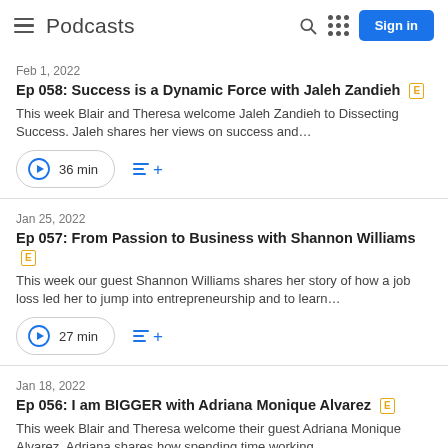Podcasts
Feb 1, 2022
Ep 058: Success is a Dynamic Force with Jaleh Zandieh [E]
This week Blair and Theresa welcome Jaleh Zandieh to Dissecting Success. Jaleh shares her views on success and…
36 min
Jan 25, 2022
Ep 057: From Passion to Business with Shannon Williams [E]
This week our guest Shannon Williams shares her story of how a job loss led her to jump into entrepreneurship and to learn…
27 min
Jan 18, 2022
Ep 056: I am BIGGER with Adriana Monique Alvarez [E]
This week Blair and Theresa welcome their guest Adriana Monique Alvarez. Adriana shares how spending time working